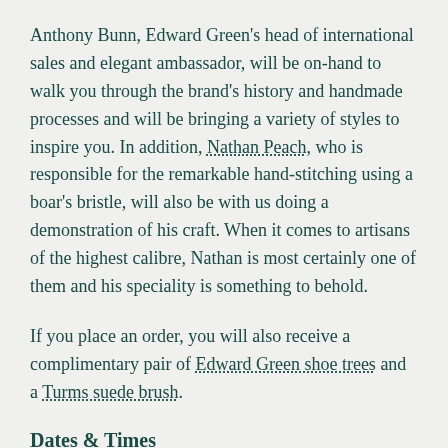Anthony Bunn, Edward Green's head of international sales and elegant ambassador, will be on-hand to walk you through the brand's history and handmade processes and will be bringing a variety of styles to inspire you. In addition, Nathan Peach, who is responsible for the remarkable hand-stitching using a boar's bristle, will also be with us doing a demonstration of his craft. When it comes to artisans of the highest calibre, Nathan is most certainly one of them and his speciality is something to behold.
If you place an order, you will also receive a complimentary pair of Edward Green shoe trees and a Turms suede brush.
Dates & Times